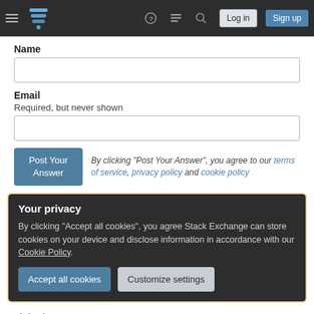[Figure (screenshot): Stack Exchange navigation bar with hamburger menu, logo, help, chat, search icons, Log in and Sign up buttons]
Name
[Figure (other): Empty text input field for Name]
Email
Required, but never shown
[Figure (other): Empty text input field for Email]
Post Your Answer
By clicking "Post Your Answer", you agree to our terms of service, privacy policy and cookie policy
Your privacy
By clicking "Accept all cookies", you agree Stack Exchange can store cookies on your device and disclose information in accordance with our Cookie Policy.
Accept all cookies
Customize settings
Linked